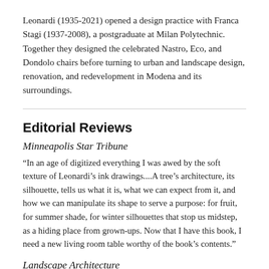Leonardi (1935-2021) opened a design practice with Franca Stagi (1937-2008), a postgraduate at Milan Polytechnic. Together they designed the celebrated Nastro, Eco, and Dondolo chairs before turning to urban and landscape design, renovation, and redevelopment in Modena and its surroundings.
Editorial Reviews
Minneapolis Star Tribune
“In an age of digitized everything I was awed by the soft texture of Leonardi’s ink drawings....A tree’s architecture, its silhouette, tells us what it is, what we can expect from it, and how we can manipulate its shape to serve a purpose: for fruit, for summer shade, for winter silhouettes that stop us midstep, as a hiding place from grown-ups. Now that I have this book, I need a new living room table worthy of the book’s contents.”
Landscape Architecture
“The revival of a beloved design reference.”